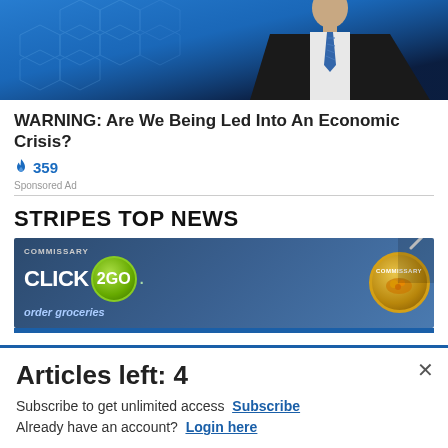[Figure (photo): Photo of a man in a dark suit against a blue digital background]
WARNING: Are We Being Led Into An Economic Crisis?
🔥 359
Sponsored Ad
STRIPES TOP NEWS
[Figure (advertisement): Commissary Click2GO advertisement banner with green logo and commissary badge]
Articles left: 4
Subscribe to get unlimited access  Subscribe
Already have an account?  Login here